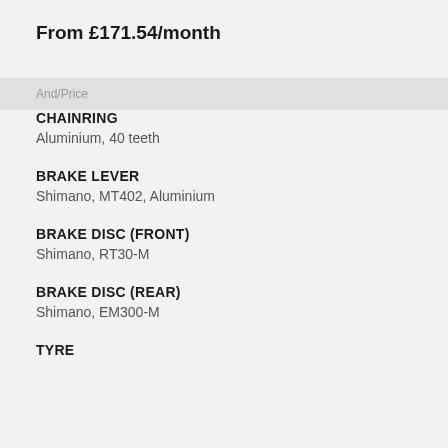From £171.54/month
And/Price
CHAINRING
Aluminium, 40 teeth
BRAKE LEVER
Shimano, MT402, Aluminium
BRAKE DISC (FRONT)
Shimano, RT30-M
BRAKE DISC (REAR)
Shimano, EM300-M
TYRE